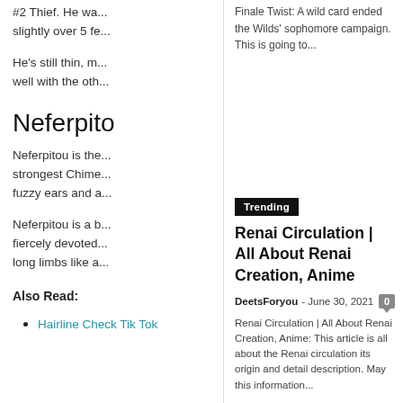#2 Thief. He wa... slightly over 5 fe...
He's still thin, m... well with the oth...
Neferpito
Neferpitou is the... strongest Chime... fuzzy ears and a...
Neferpitou is a b... fiercely devoted... long limbs like a...
Also Read:
Hairline Check Tik Tok
Finale Twist: A wild card ended the Wilds' sophomore campaign. This is going to...
Trending
Renai Circulation | All About Renai Creation, Anime
DeetsForyou - June 30, 2021  0
Renai Circulation | All About Renai Creation, Anime: This article is all about the Renai circulation its origin and detail description. May this information...